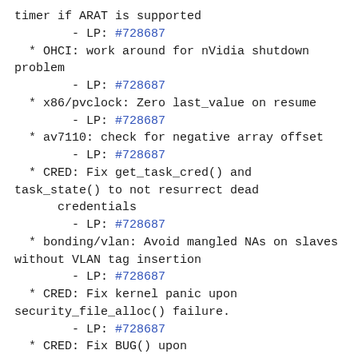timer if ARAT is supported
        - LP: #728687
* OHCI: work around for nVidia shutdown problem
        - LP: #728687
* x86/pvclock: Zero last_value on resume
        - LP: #728687
* av7110: check for negative array offset
        - LP: #728687
* CRED: Fix get_task_cred() and task_state() to not resurrect dead
      credentials
        - LP: #728687
* bonding/vlan: Avoid mangled NAs on slaves without VLAN tag insertion
        - LP: #728687
* CRED: Fix kernel panic upon security_file_alloc() failure.
        - LP: #728687
* CRED: Fix BUG() upon security_cred_alloc_blank() failure
        - LP: #728687
* CRED: Fix memory and refcount